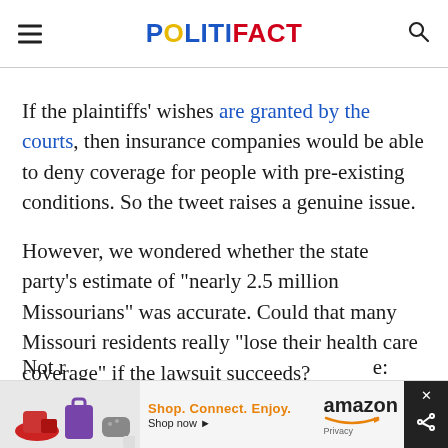POLITIFACT
If the plaintiffs' wishes are granted by the courts, then insurance companies would be able to deny coverage for people with pre-existing conditions. So the tweet raises a genuine issue.
However, we wondered whether the state party's estimate of "nearly 2.5 million Missourians" was accurate. Could that many Missouri residents really "lose their health care coverage" if the lawsuit succeeds?
Not r
[Figure (screenshot): Amazon advertisement banner at bottom of page showing products (shoe, bag, controller) with text 'Shop. Connect. Enjoy.' and 'amazon Shop now ▸' with a Privacy label and close/share button.]